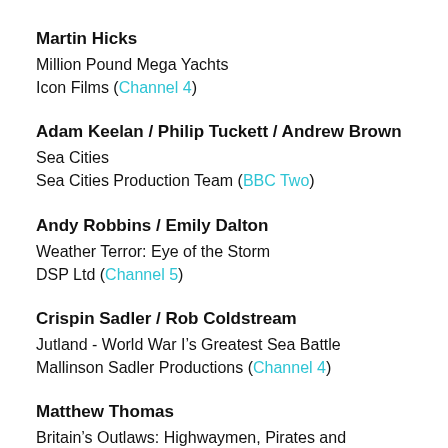Martin Hicks
Million Pound Mega Yachts
Icon Films (Channel 4)
Adam Keelan / Philip Tuckett / Andrew Brown
Sea Cities
Sea Cities Production Team (BBC Two)
Andy Robbins / Emily Dalton
Weather Terror: Eye of the Storm
DSP Ltd (Channel 5)
Crispin Sadler / Rob Coldstream
Jutland - World War I’s Greatest Sea Battle
Mallinson Sadler Productions (Channel 4)
Matthew Thomas
Britain’s Outlaws: Highwaymen, Pirates and